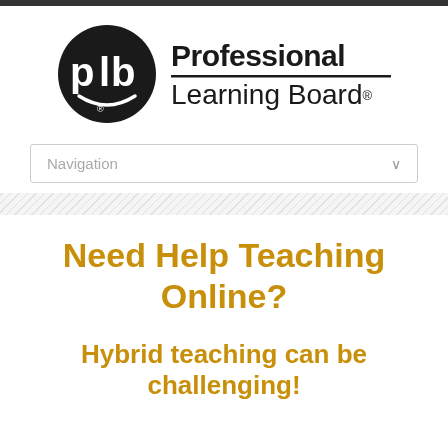[Figure (logo): Professional Learning Board logo: black circle with white 'plb' letters and a smile accent, next to bold text 'Professional' over 'Learning Board' with registered trademark symbol]
Navigation
Need Help Teaching Online?
Hybrid teaching can be challenging!